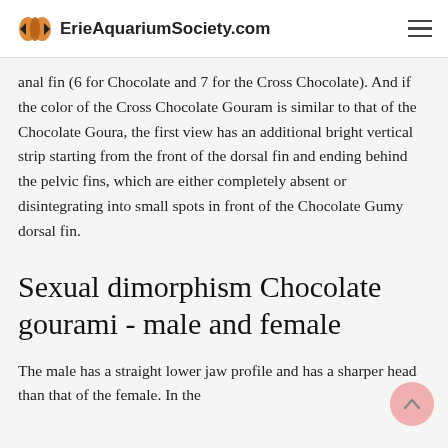ErieAquariumSociety.com
anal fin (6 for Chocolate and 7 for the Cross Chocolate). And if the color of the Cross Chocolate Gouram is similar to that of the Chocolate Goura, the first view has an additional bright vertical strip starting from the front of the dorsal fin and ending behind the pelvic fins, which are either completely absent or disintegrating into small spots in front of the Chocolate Gumy dorsal fin.
Sexual dimorphism Chocolate gourami - male and female
The male has a straight lower jaw profile and has a sharper head than that of the female. In the